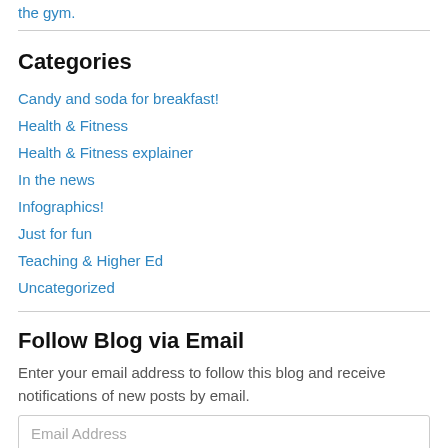the gym.
Categories
Candy and soda for breakfast!
Health & Fitness
Health & Fitness explainer
In the news
Infographics!
Just for fun
Teaching & Higher Ed
Uncategorized
Follow Blog via Email
Enter your email address to follow this blog and receive notifications of new posts by email.
Email Address